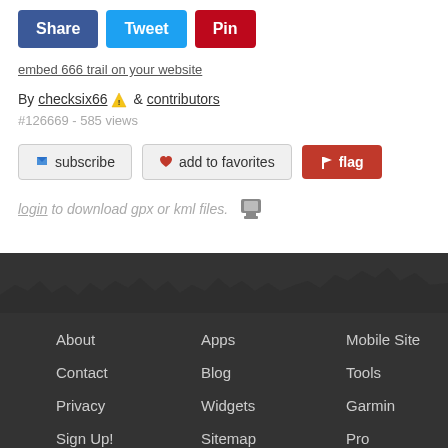Share | Tweet | Pin
embed 666 trail on your website
By checksix66 & contributors
#126669 - 585 views
subscribe | add to favorites | flag
login to download gpx or kml files.
About  Apps  Mobile Site  Associations  Contact  Blog  Tools  Forum  Privacy  Widgets  Garmin  Help  Sign Up!  Sitemap  Pro